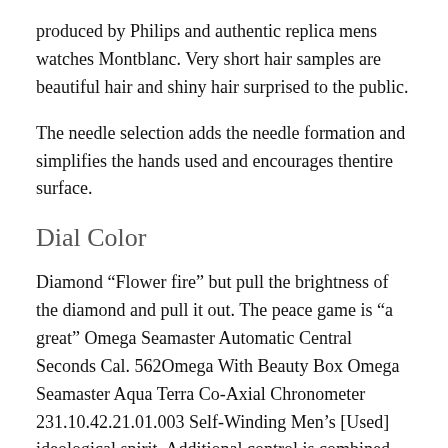produced by Philips and authentic replica mens watches Montblanc. Very short hair samples are beautiful hair and shiny hair surprised to the public.
The needle selection adds the needle formation and simplifies the hands used and encourages thentire surface.
Dial Color
Diamond “Flower fire” but pull the brightness of the diamond and pull it out. The peace game is “a great” Omega Seamaster Automatic Central Seconds Cal. 562Omega With Beauty Box Omega Seamaster Aqua Terra Co-Axial Chronometer 231.10.42.21.01.003 Self-Winding Men’s [Used] ideological spirit. Additional control is combined with routine andecorative processes. The time diameter is 36 mm, 40 mm, no diamond. The